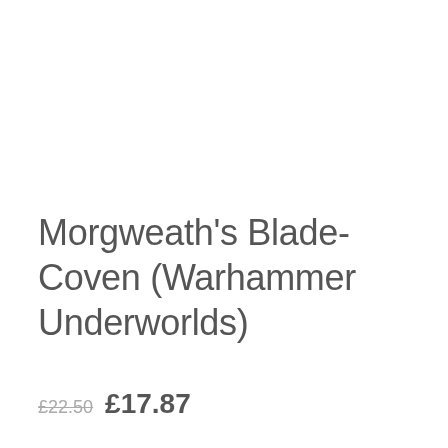Morgweath's Blade-Coven (Warhammer Underworlds)
£22.50  £17.87